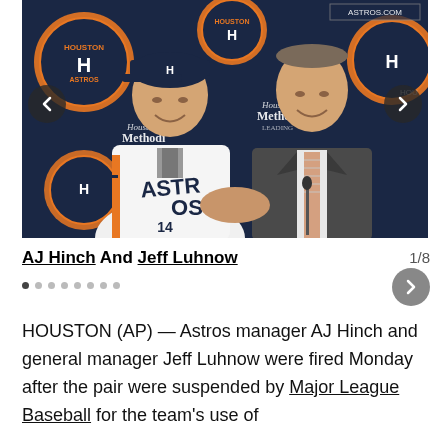[Figure (photo): Two men shaking hands at a press conference in front of Houston Astros branded backdrop. The man on the left wears a white Astros jersey with number 14, and an Astros cap. The man on the right wears a dark suit with a striped tie. Navigation arrows (left and right) are overlaid on the photo edges. Houston Methodist sponsor logos are visible on the backdrop along with Astros logos.]
AJ Hinch And Jeff Luhnow
HOUSTON (AP) — Astros manager AJ Hinch and general manager Jeff Luhnow were fired Monday after the pair were suspended by Major League Baseball for the team's use of